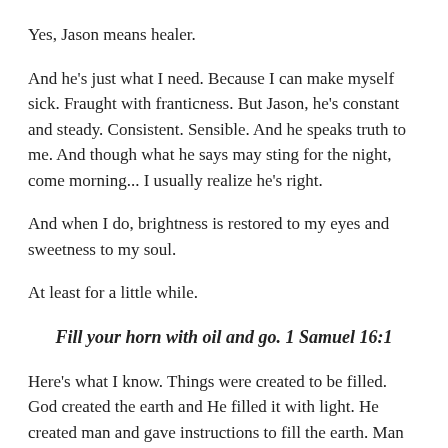Yes, Jason means healer.
And he's just what I need. Because I can make myself sick. Fraught with franticness. But Jason, he's constant and steady. Consistent. Sensible. And he speaks truth to me. And though what he says may sting for the night, come morning... I usually realize he's right.
And when I do, brightness is restored to my eyes and sweetness to my soul.
At least for a little while.
Fill your horn with oil and go. 1 Samuel 16:1
Here's what I know. Things were created to be filled. God created the earth and He filled it with light. He created man and gave instructions to fill the earth. Man populated the world and